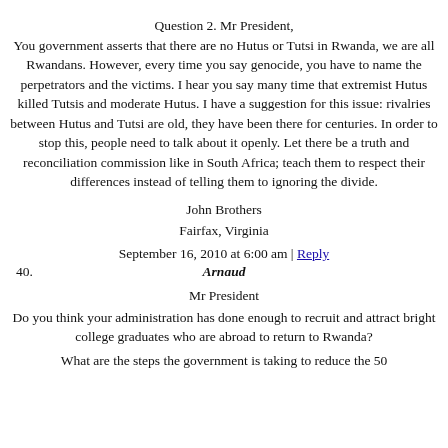Question 2. Mr President, You government asserts that there are no Hutus or Tutsi in Rwanda, we are all Rwandans. However, every time you say genocide, you have to name the perpetrators and the victims. I hear you say many time that extremist Hutus killed Tutsis and moderate Hutus. I have a suggestion for this issue: rivalries between Hutus and Tutsi are old, they have been there for centuries. In order to stop this, people need to talk about it openly. Let there be a truth and reconciliation commission like in South Africa; teach them to respect their differences instead of telling them to ignoring the divide.
John Brothers
Fairfax, Virginia
September 16, 2010 at 6:00 am | Reply
40. Arnaud
Mr President
Do you think your administration has done enough to recruit and attract bright college graduates who are abroad to return to Rwanda?
What are the steps the government is taking to reduce the 50